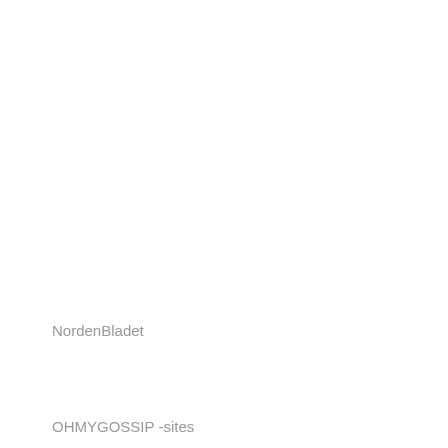NordenBladet
OHMYGOSSIP -sites